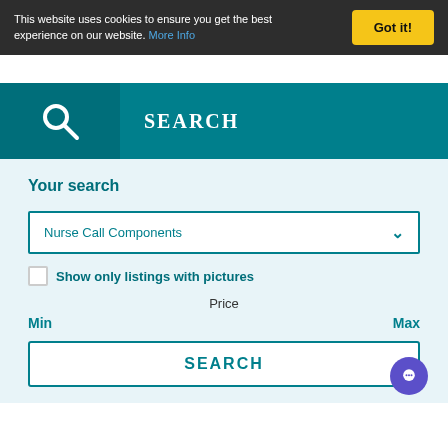This website uses cookies to ensure you get the best experience on our website. More Info
Got it!
SEARCH
Your search
Nurse Call Components
Show only listings with pictures
Price
Min
Max
SEARCH